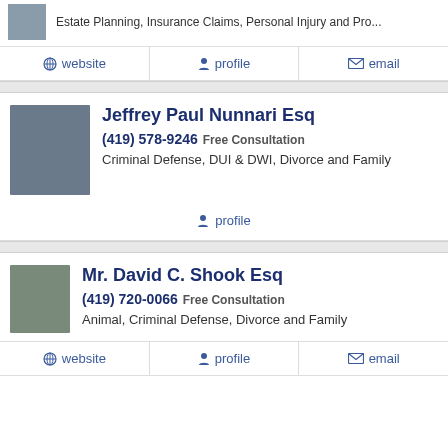Estate Planning, Insurance Claims, Personal Injury and Pro...
website | profile | email
Jeffrey Paul Nunnari Esq
(419) 578-9246 Free Consultation
Criminal Defense, DUI & DWI, Divorce and Family
profile
Mr. David C. Shook Esq
(419) 720-0066 Free Consultation
Animal, Criminal Defense, Divorce and Family
website | profile | email